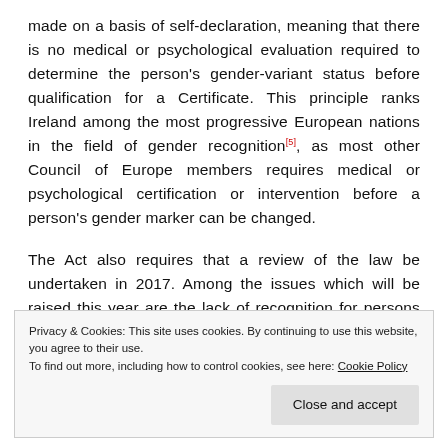made on a basis of self-declaration, meaning that there is no medical or psychological evaluation required to determine the person's gender-variant status before qualification for a Certificate. This principle ranks Ireland among the most progressive European nations in the field of gender recognition[5], as most other Council of Europe members requires medical or psychological certification or intervention before a person's gender marker can be changed.
The Act also requires that a review of the law be undertaken in 2017. Among the issues which will be raised this year are the lack of recognition for persons of non-
Privacy & Cookies: This site uses cookies. By continuing to use this website, you agree to their use.
To find out more, including how to control cookies, see here: Cookie Policy
Close and accept
the two decade-long struggle to enact such a legislation in